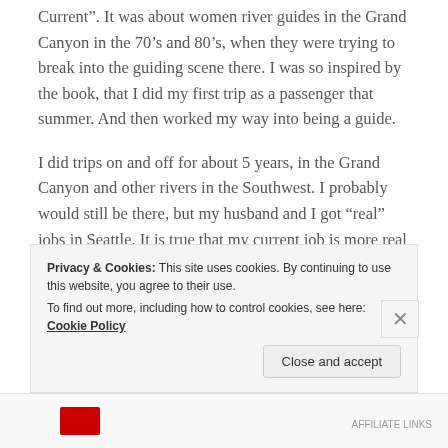Current". It was about women river guides in the Grand Canyon in the 70’s and 80’s, when they were trying to break into the guiding scene there. I was so inspired by the book, that I did my first trip as a passenger that summer. And then worked my way into being a guide.
I did trips on and off for about 5 years, in the Grand Canyon and other rivers in the Southwest. I probably would still be there, but my husband and I got “real” jobs in Seattle. It is true that my current job is more real in all the accepted ways: salary, consistency, security...
Privacy & Cookies: This site uses cookies. By continuing to use this website, you agree to their use.
To find out more, including how to control cookies, see here: Cookie Policy
Close and accept